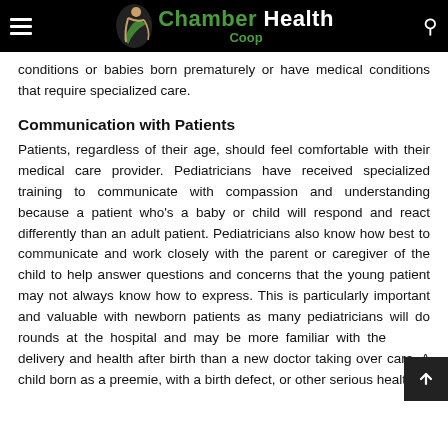Chamber Health Coop
conditions or babies born prematurely or have medical conditions that require specialized care.
Communication with Patients
Patients, regardless of their age, should feel comfortable with their medical care provider. Pediatricians have received specialized training to communicate with compassion and understanding because a patient who's a baby or child will respond and react differently than an adult patient. Pediatricians also know how best to communicate and work closely with the parent or caregiver of the child to help answer questions and concerns that the young patient may not always know how to express. This is particularly important and valuable with newborn patients as many pediatricians will do rounds at the hospital and may be more familiar with the baby's delivery and health after birth than a new doctor taking over care. A child born as a preemie, with a birth defect, or other serious health